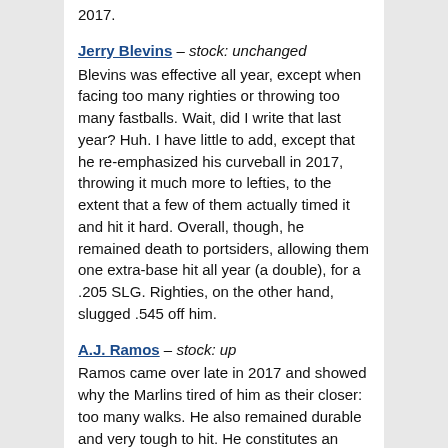2017.
Jerry Blevins – stock: unchanged
Blevins was effective all year, except when facing too many righties or throwing too many fastballs. Wait, did I write that last year? Huh. I have little to add, except that he re-emphasized his curveball in 2017, throwing it much more to lefties, to the extent that a few of them actually timed it and hit it hard. Overall, though, he remained death to portsiders, allowing them one extra-base hit all year (a double), for a .205 SLG. Righties, on the other hand, slugged .545 off him.
A.J. Ramos – stock: up
Ramos came over late in 2017 and showed why the Marlins tired of him as their closer: too many walks. He also remained durable and very tough to hit. He constitutes an improvement over what Hansel Robles offered coming into 2017.
Paul Sewald and Jacob Rhame – stock: unchanged
Sewald went from a complete unknown to dominating righties in 2017, though his command went downhill dramatically with frequent use as the season wore on. Rhame